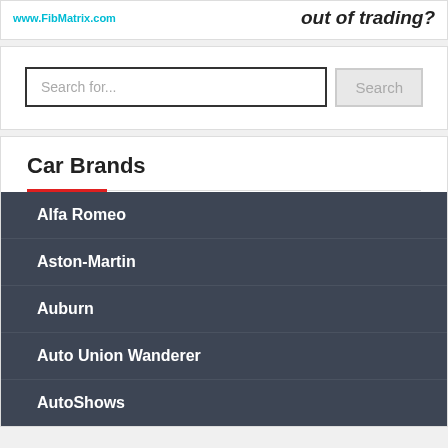[Figure (logo): www.FibMatrix.com logo in cyan/teal text]
out of trading?
Search for...
Car Brands
Alfa Romeo
Aston-Martin
Auburn
Auto Union Wanderer
AutoShows